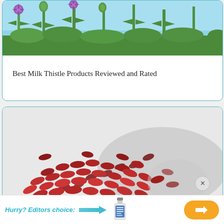[Figure (photo): Photo of milk thistle plants with purple flowers against a blue sky background]
Best Milk Thistle Products Reviewed and Rated
[Figure (photo): Close-up photo of dark red milk thistle seeds piled on a white surface]
Hurry? Editors choice: